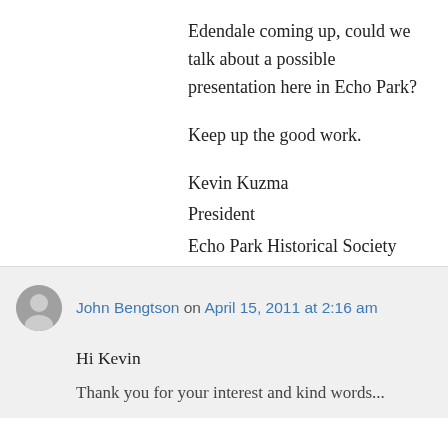Edendale coming up, could we talk about a possible presentation here in Echo Park?

Keep up the good work.

Kevin Kuzma
President
Echo Park Historical Society
Los Angeles
★ Like
↳ Reply
John Bengtson on April 15, 2011 at 2:16 am
Hi Kevin
Thank you for your interest and kind words...